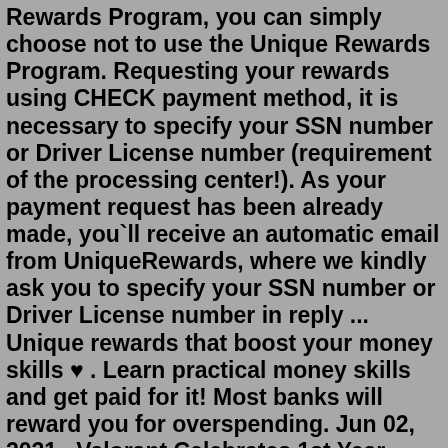Rewards Program, you can simply choose not to use the Unique Rewards Program. Requesting your rewards using CHECK payment method, it is necessary to specify your SSN number or Driver License number (requirement of the processing center!). As your payment request has been already made, you`ll receive an automatic email from UniqueRewards, where we kindly ask you to specify your SSN number or Driver License number in reply ... Unique rewards that boost your money skills 🌟 . Learn practical money skills and get paid for it! Most banks will reward you for overspending. Jun 02, 2021 · Valorant Celebrates 1st Year Anniversary With Unique Rewards For Players. Valorant gives away freebies and hosts new events for the players to celebrate its first anniversary. A year ago, Valorant was released and it made history within the FPS scene. It is already making its reputation as one of the most competitive FPS games in the video ... Nov 16, 2017 · You give without expectation of return. You give with joy, and you give because your partner's